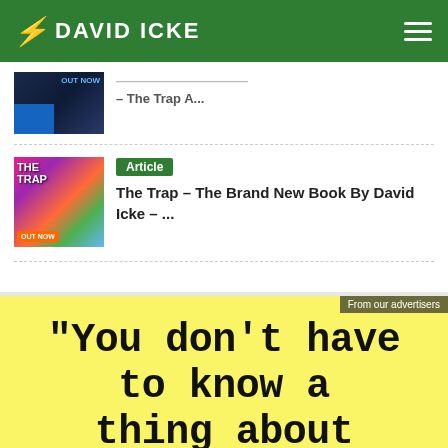DAVID ICKE
[Figure (screenshot): Thumbnail image of a dark book cover, partially visible]
- The Trap A...
[Figure (screenshot): Thumbnail image of 'The Trap' book cover with colorful psychedelic background and 'OUT NOW' label]
Article
The Trap – The Brand New Book By David Icke – ...
[Figure (infographic): Yellow advertisement banner with bold monospace text: "You don't have to know a thing about"]
From our advertisers